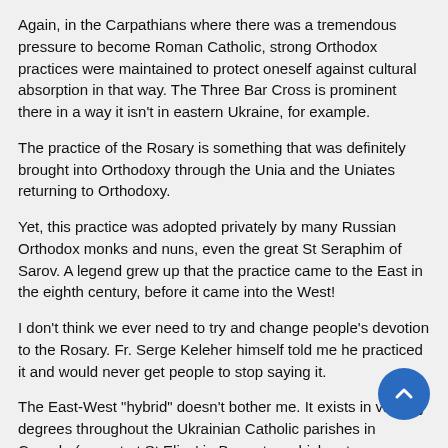Again, in the Carpathians where there was a tremendous pressure to become Roman Catholic, strong Orthodox practices were maintained to protect oneself against cultural absorption in that way. The Three Bar Cross is prominent there in a way it isn't in eastern Ukraine, for example.
The practice of the Rosary is something that was definitely brought into Orthodoxy through the Unia and the Uniates returning to Orthodoxy.
Yet, this practice was adopted privately by many Russian Orthodox monks and nuns, even the great St Seraphim of Sarov. A legend grew up that the practice came to the East in the eighth century, before it came into the West!
I don't think we ever need to try and change people's devotion to the Rosary. Fr. Serge Keleher himself told me he practiced it and would never get people to stop saying it.
The East-West "hybrid" doesn't bother me. It exists in varying degrees throughout the Ukrainian Catholic parishes in Canada (except at St Elias' in Brampton which sets a Byzantine example unequalled anywhere).